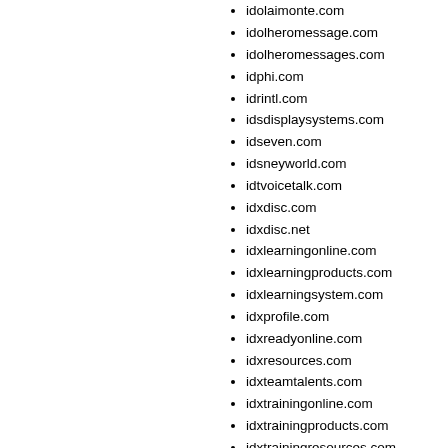idolaimonte.com
idolheromessage.com
idolheromessages.com
idphi.com
idrintl.com
idsdisplaysystems.com
idseven.com
idsneyworld.com
idtvoicetalk.com
idxdisc.com
idxdisc.net
idxlearningonline.com
idxlearningproducts.com
idxlearningsystem.com
idxprofile.com
idxreadyonline.com
idxresources.com
idxteamtalents.com
idxtrainingonline.com
idxtrainingproducts.com
idxtrainingresources.com
idxtrainingsolutions.com
idxtrainingsystem.com
iealp.com
ieieie.net
iejia.com
iemmanuel.com
iemmanuel.net